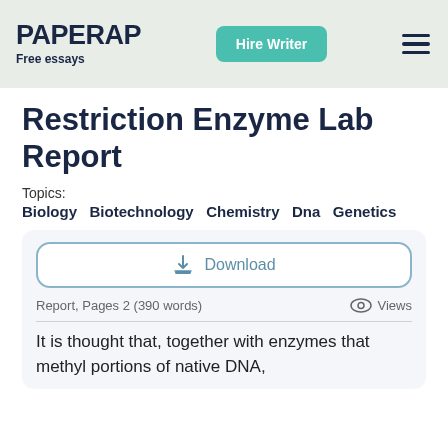PAPERAP Free essays | Hire Writer
Restriction Enzyme Lab Report
Topics:
Biology  Biotechnology  Chemistry  Dna  Genetics
[Figure (screenshot): Download button with teal border and download icon]
Report, Pages 2 (390 words)
Views
It is thought that, together with enzymes that methyl portions of native DNA,